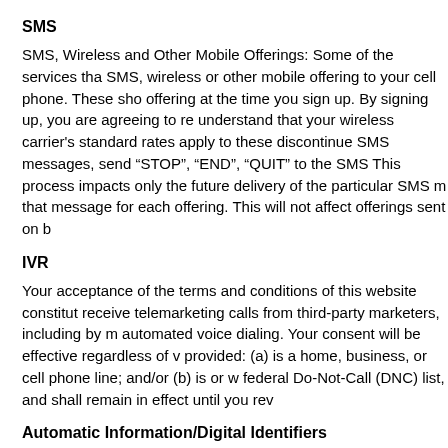SMS
SMS, Wireless and Other Mobile Offerings: Some of the services tha SMS, wireless or other mobile offering to your cell phone. These sho offering at the time you sign up. By signing up, you are agreeing to re understand that your wireless carrier's standard rates apply to these discontinue SMS messages, send “STOP”, “END”, “QUIT” to the SMS This process impacts only the future delivery of the particular SMS m that message for each offering. This will not affect offerings sent on b
IVR
Your acceptance of the terms and conditions of this website constitut receive telemarketing calls from third-party marketers, including by m automated voice dialing. Your consent will be effective regardless of v provided: (a) is a home, business, or cell phone line; and/or (b) is or w federal Do-Not-Call (DNC) list, and shall remain in effect until you rev
Automatic Information/Digital Identifiers
We may automatically receive and store certain types of information a listed above.
You may be familiar with the term “cookies,” which are unique alphan information on your computer. A cookie is placed on your computer wi